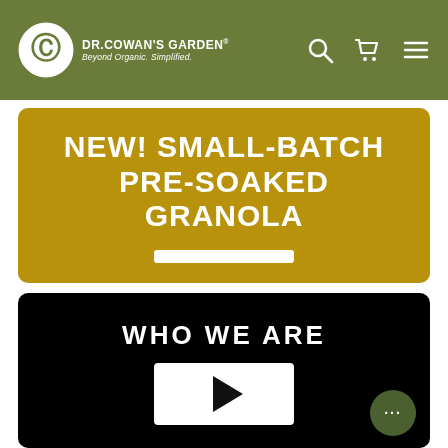[Figure (logo): Dr. Cowan's Garden logo with circular C emblem and tagline 'Beyond Organic. Simplified.']
[Figure (screenshot): Navigation bar with olive green background, showing search icon, cart icon, and hamburger menu icon on the right side]
NEW! SMALL-BATCH PRE-SOAKED GRANOLA
[Figure (other): White rectangular button on golden/mustard yellow banner background for granola product]
WHO WE ARE
[Figure (other): White play button rectangle on black video thumbnail background]
[Figure (other): Dark olive green circular chat/message bubble button in bottom right corner]